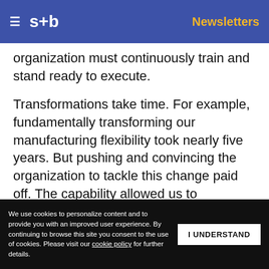≡ s+b   Newsletters
organization must continuously train and stand ready to execute.
Transformations take time. For example, fundamentally transforming our manufacturing flexibility took nearly five years. But pushing and convincing the organization to tackle this change paid off. The capability allowed us to restructuring and recover
Get s+b's award-winning newsletter delivered to your inbox.
We use cookies to personalize content and to provide you with an improved user experience. By continuing to browse this site you consent to the use of cookies. Please visit our cookie policy for further details.